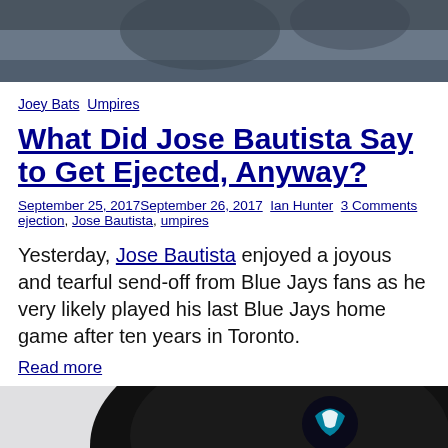[Figure (photo): Top portion of a Blue Jays baseball scene photo, cropped at top of page]
Joey Bats  Umpires
What Did Jose Bautista Say to Get Ejected, Anyway?
September 25, 2017September 26, 2017  Ian Hunter  3 Comments  ejection, Jose Bautista, umpires
Yesterday, Jose Bautista enjoyed a joyous and tearful send-off from Blue Jays fans as he very likely played his last Blue Jays home game after ten years in Toronto.
Read more
[Figure (photo): Bottom portion showing a person wearing a Toronto Blue Jays baseball cap]